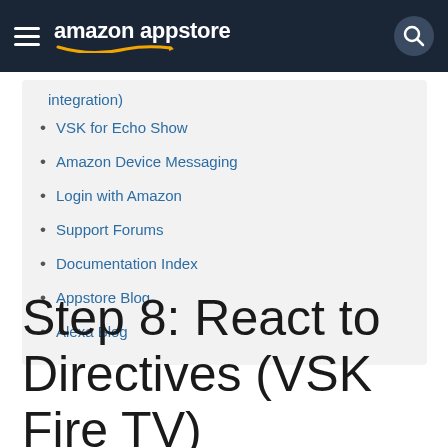amazon appstore
integration)
VSK for Echo Show
Amazon Device Messaging
Login with Amazon
Support Forums
Documentation Index
Appstore Blog
Alexa Blog
Step 8: React to Directives (VSK Fire TV)